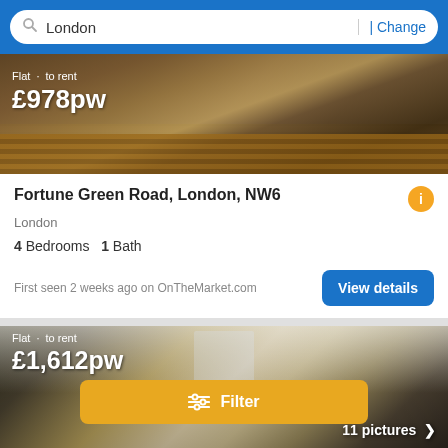[Figure (screenshot): Search bar with 'London' text and 'Change' link on blue background]
[Figure (photo): Interior photo of a flat showing wooden floors and furniture, with text overlay 'Flat · to rent £978pw']
Fortune Green Road, London, NW6
London
4 Bedrooms  1 Bath
First seen 2 weeks ago on OnTheMarket.com
[Figure (screenshot): View details button (blue)]
[Figure (photo): Interior photo of a flat showing living room with sofas, curtains, and artwork. Badge shows '11 pictures >' and 'Flat · to rent £1,612pw' at the bottom. A yellow Filter button overlays the image.]
Flat · to rent £1,612pw